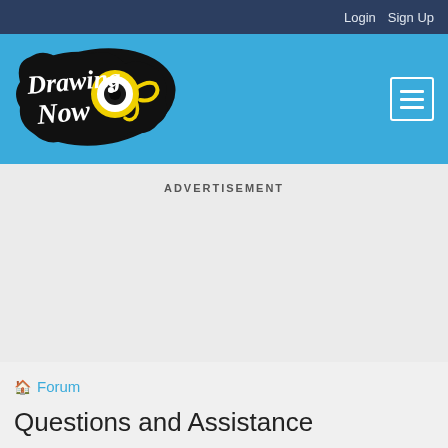Login  Sign Up
[Figure (logo): DrawingNow logo with stylized text and monster eye character on blue banner background with hamburger menu icon]
ADVERTISEMENT
🏠 Forum
Questions and Assistance